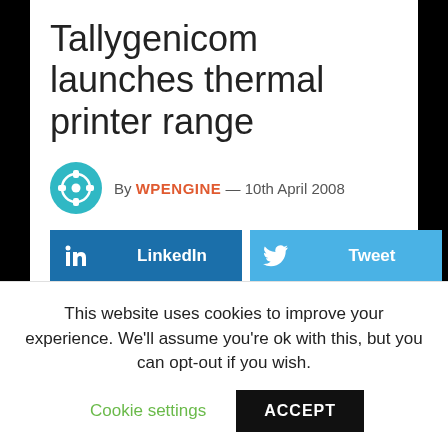Tallygenicom launches thermal printer range
By WPENGINE — 10th April 2008
[Figure (infographic): Social share buttons: LinkedIn, Tweet, Share (Facebook), and a plus button]
TallyGenicom, traditionally known for its heavy duty dot matrix and laser printers, has entered the thermal printer market
This website uses cookies to improve your experience. We'll assume you're ok with this, but you can opt-out if you wish.
Cookie settings   ACCEPT